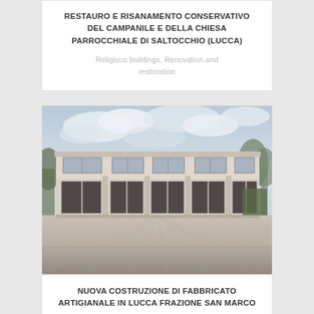RESTAURO E RISANAMENTO CONSERVATIVO DEL CAMPANILE E DELLA CHIESA PARROCCHIALE DI SALTOCCHIO (LUCCA)
Religious buildings, Renovation and restoration
[Figure (photo): Exterior photograph of a modern two-storey white/light-coloured industrial or commercial building with large windows, photographed from a wide paved courtyard. Trees visible in background against a cloudy sky.]
NUOVA COSTRUZIONE DI FABBRICATO ARTIGIANALE IN LUCCA FRAZIONE SAN MARCO